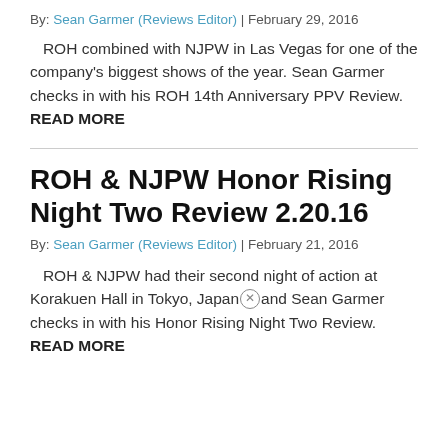By: Sean Garmer (Reviews Editor) | February 29, 2016
ROH combined with NJPW in Las Vegas for one of the company's biggest shows of the year. Sean Garmer checks in with his ROH 14th Anniversary PPV Review. READ MORE
ROH & NJPW Honor Rising Night Two Review 2.20.16
By: Sean Garmer (Reviews Editor) | February 21, 2016
ROH & NJPW had their second night of action at Korakuen Hall in Tokyo, Japan and Sean Garmer checks in with his Honor Rising Night Two Review. READ MORE